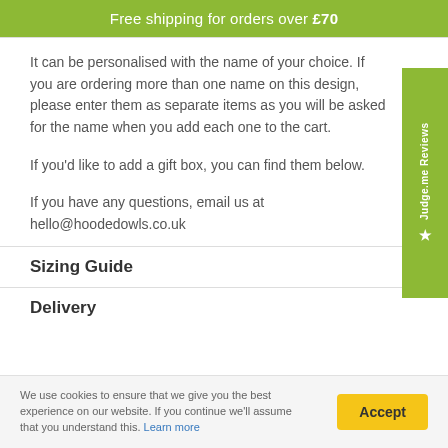Free shipping for orders over £70
It can be personalised with the name of your choice. If you are ordering more than one name on this design, please enter them as separate items as you will be asked for the name when you add each one to the cart.
If you'd like to add a gift box, you can find them below.
If you have any questions, email us at hello@hoodedowls.co.uk
Sizing Guide
Delivery
We use cookies to ensure that we give you the best experience on our website. If you continue we'll assume that you understand this. Learn more